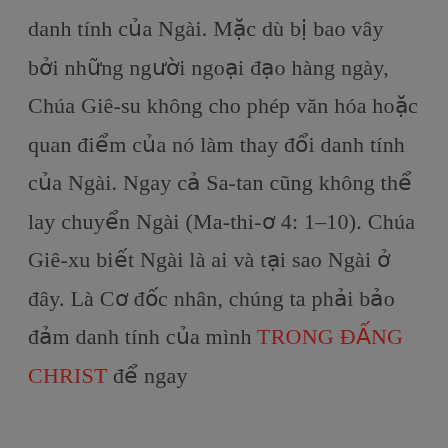danh tính của Ngài. Mặc dù bị bao vây bởi những người ngoại đạo hàng ngày, Chúa Giê-su không cho phép văn hóa hoặc quan điểm của nó làm thay đổi danh tính của Ngài. Ngay cả Sa-tan cũng không thể lay chuyển Ngài (Ma-thi-ơ 4: 1–10). Chúa Giê-xu biết Ngài là ai và tại sao Ngài ở đây. Là Cơ đốc nhân, chúng ta phải bảo đảm danh tính của mình TRONG ĐẤNG CHRIST để ngay